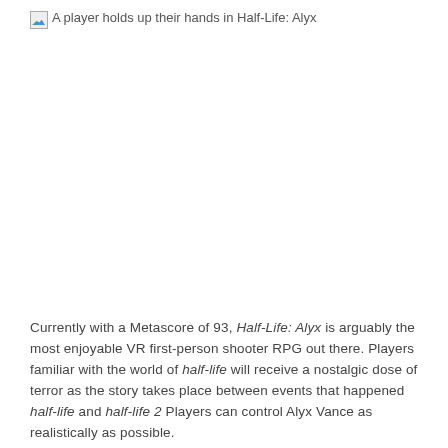[Figure (photo): A player holds up their hands in Half-Life: Alyx — broken/missing image placeholder shown]
Currently with a Metascore of 93, Half-Life: Alyx is arguably the most enjoyable VR first-person shooter RPG out there. Players familiar with the world of half-life will receive a nostalgic dose of terror as the story takes place between events that happened half-life and half-life 2 Players can control Alyx Vance as realistically as possible.